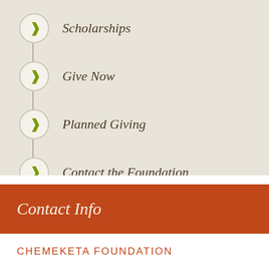Scholarships
Give Now
Planned Giving
Contact the Foundation
Contact Info
CHEMEKETA FOUNDATION